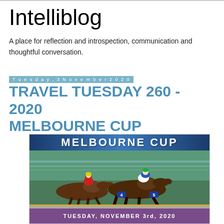Intelliblog
A place for reflection and introspection, communication and thoughtful conversation.
Tuesday, 3 November 2020
TRAVEL TUESDAY 260 - 2020 MELBOURNE CUP
[Figure (photo): Melbourne Cup promotional image showing horse racing with jockeys, with 'MELBOURNE CUP' banner at top and 'TUESDAY, NOVEMBER 3rd, 2020' text at bottom on purple background]